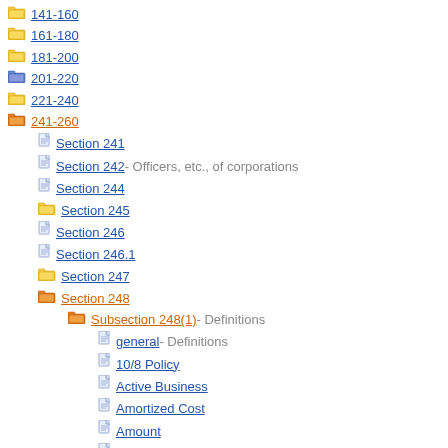141-160
161-180
181-200
201-220
221-240
241-260
Section 241
Section 242 - Officers, etc., of corporations
Section 244
Section 245
Section 246
Section 246.1
Section 247
Section 248
Subsection 248(1) - Definitions
general - Definitions
10/8 Policy
Active Business
Amortized Cost
Amount
Annuity